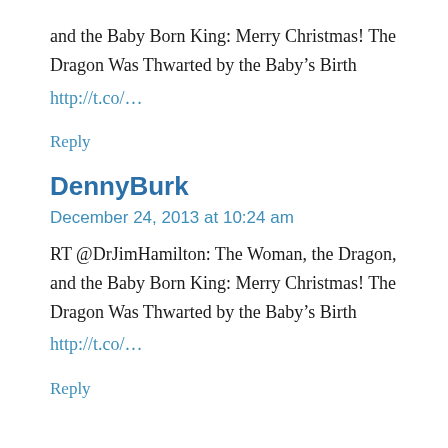and the Baby Born King: Merry Christmas! The Dragon Was Thwarted by the Baby’s Birth
http://t.co/…
Reply
DennyBurk
December 24, 2013 at 10:24 am
RT @DrJimHamilton: The Woman, the Dragon, and the Baby Born King: Merry Christmas! The Dragon Was Thwarted by the Baby’s Birth
http://t.co/…
Reply